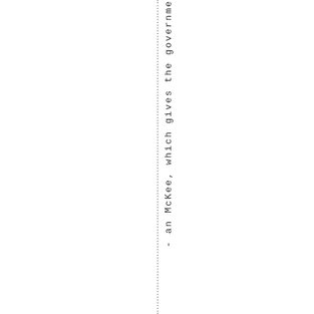- an McKee, which gives the governme